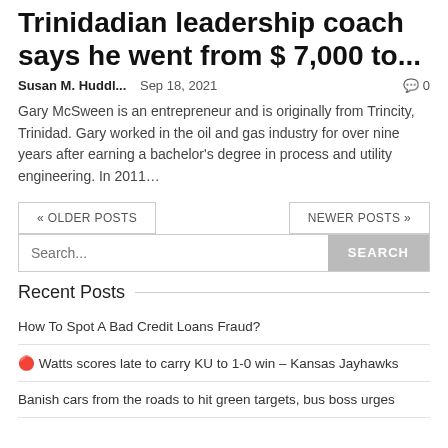Trinidadian leadership coach says he went from $ 7,000 to...
Susan M. Huddl...   Sep 18, 2021   🗨 0
Gary McSween is an entrepreneur and is originally from Trincity, Trinidad. Gary worked in the oil and gas industry for over nine years after earning a bachelor's degree in process and utility engineering. In 2011...
« OLDER POSTS
NEWER POSTS »
Search...
Recent Posts
How To Spot A Bad Credit Loans Fraud?
🔴 Watts scores late to carry KU to 1-0 win – Kansas Jayhawks
Banish cars from the roads to hit green targets, bus boss urges